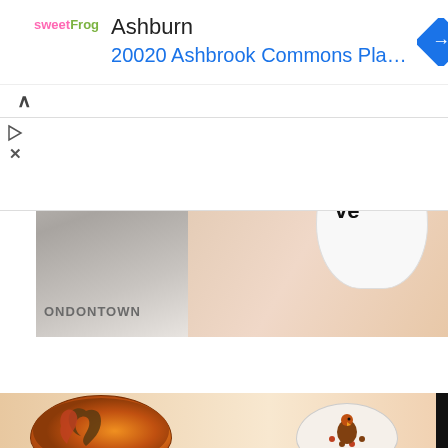[Figure (screenshot): Mobile advertisement banner for sweetFrog showing 'Ashburn' as location title and '20020 Ashbrook Commons Pla...' as address in blue text, with a blue diamond navigation arrow icon on the right, sweetFrog logo on the left, and play/close small icons on the far left]
[Figure (photo): Close-up photo of nail art: white stiletto nail with 'Love' written in black with a red lip/kiss mark, next to a nail polish bottle labeled 'Enhanced Colour by LONDONTOWN']
[Figure (photo): Close-up photo of fall-themed nail art on fingers: orange nail with autumn leaf designs, white nail with a turkey/fall design with dots]